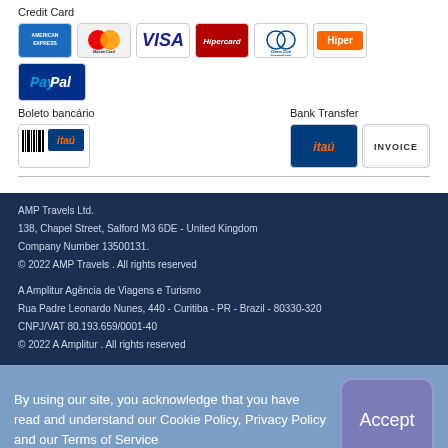Credit Card
[Figure (logo): Payment card logos: American Express, MasterCard, VISA, Hipercard, Diners Club International, Hiper, PayPal]
Boleto bancário
[Figure (logo): Boleto bancário with Itaú logo]
Bank Transfer
[Figure (logo): Bank Transfer icons: Itaú and INVOICE]
AMP Travels Ltd.
138, Chapel Street, Salford M3 6DE - United Kingdom
Company Number 13500131.
© 2022 AMP Travels . All rights reserved
A Amplitur Agência de Viagens e Turismo
Rua Padre Leonardo Nunes, 440 - Curitiba - PR - Brazil - 80330-320
CNPJ/VAT 80.193.659/0001-40
© 2022 A Amplitur . All rights reserved
By using our site, you acknowledge that you have read and understand our Cookie Policy, Privacy Policy and our Terms of Service